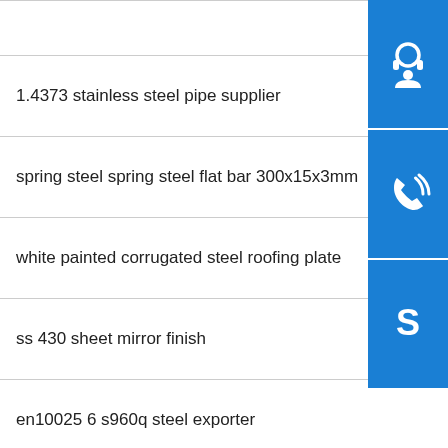1.4373 stainless steel pipe supplier
spring steel spring steel flat bar 300x15x3mm
white painted corrugated steel roofing plate
ss 430 sheet mirror finish
en10025 6 s960q steel exporter
SUS316L
high capability chile ex factory of 10 carbon steel plate
s335jr hot rolled made carbon steel plate price